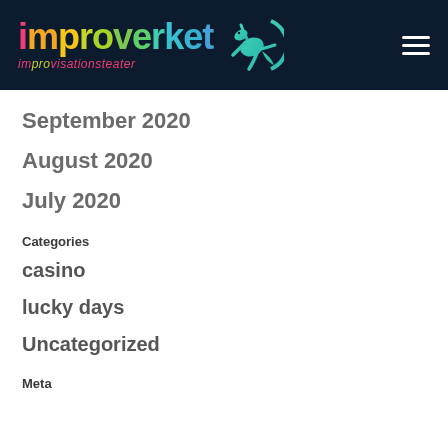[Figure (logo): Improverket improvisationsteater logo with colorful text and teal lizard graphic on dark navy background, with hamburger menu icon]
September 2020
August 2020
July 2020
Categories
casino
lucky days
Uncategorized
Meta